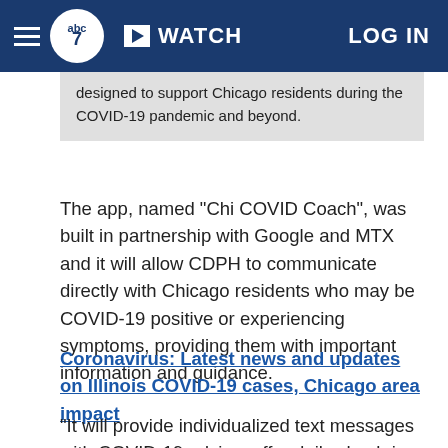abc7 WATCH LOG IN
designed to support Chicago residents during the COVID-19 pandemic and beyond.
The app, named "Chi COVID Coach", was built in partnership with Google and MTX and it will allow CDPH to communicate directly with Chicago residents who may be COVID-19 positive or experiencing symptoms, providing them with important information and guidance.
Coronavirus: Latest news and updates on Illinois COVID-19 cases, Chicago area impact
"It will provide individualized text messages with COVID-19 advice, offer daily check-ins form those